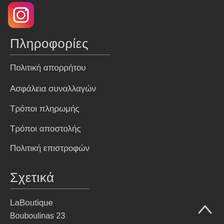[Figure (logo): Instagram logo icon in top left corner]
Πληροφορίες
Πολιτική απορρήτου
Ασφάλεια συναλλαγών
Τρόποι πληρωμής
Τρόποι αποστολής
Πολιτική επιστροφών
Σχετικά
LaBoutique
Bouboulinas 23
Alexandroupolis
[Figure (other): Back to top arrow chevron icon]